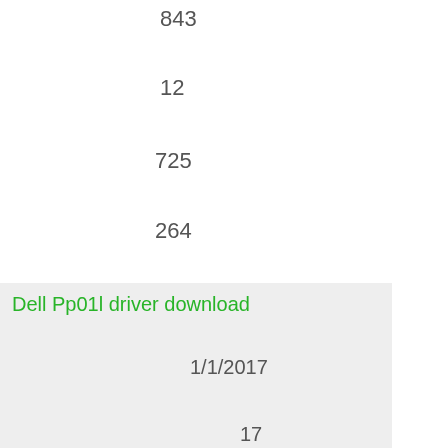843
12
725
264
Dell Pp01l driver download
1/1/2017
17